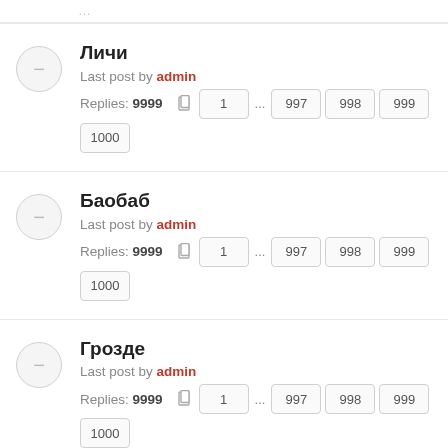Личи — Last post by admin — Replies: 9999 — pages: 1 ... 997 998 999 1000
Баобаб — Last post by admin — Replies: 9999 — pages: 1 ... 997 998 999 1000
Грозде — Last post by admin — Replies: 9999 — pages: 1 ... 997 998 999 1000
Декоративни кратунки — Last post by admin — Replies: 9999 — pages: 1 ... 997 998 999 1000
Деликатесна гъба върху тоалетна хартия